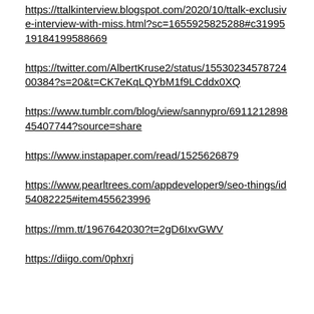https://ttalkinterview.blogspot.com/2020/10/ttalk-exclusive-interview-with-miss.html?sc=1655925825288#c3199519184199588669
https://twitter.com/AlbertKruse2/status/1553023457872400384?s=20&t=CK7eKqLQYbM1f9LCddx0XQ
https://www.tumblr.com/blog/view/sannypro/691121289845407744?source=share
https://www.instapaper.com/read/1525626879
https://www.pearltrees.com/appdeveloper9/seo-things/id54082225#item455623996
https://mm.tt/1967642030?t=2gD6IxvGWV
https://diigo.com/0phxrj